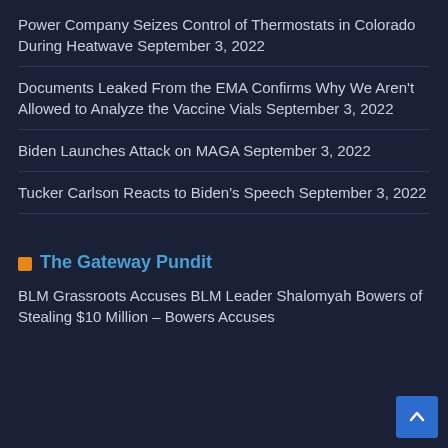Power Company Seizes Control of Thermostats in Colorado During Heatwave September 3, 2022
Documents Leaked From the EMA Confirms Why We Aren't Allowed to Analyze the Vaccine Vials September 3, 2022
Biden Launches Attack on MAGA September 3, 2022
Tucker Carlson Reacts to Biden's Speech September 3, 2022
The Gateway Pundit
BLM Grassroots Accuses BLM Leader Shalomyah Bowers of Stealing $10 Million – Bowers Accuses